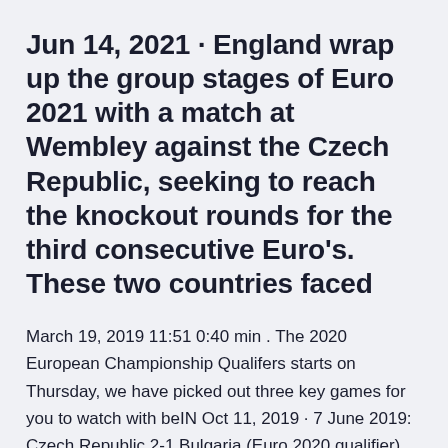Jun 14, 2021 · England wrap up the group stages of Euro 2021 with a match at Wembley against the Czech Republic, seeking to reach the knockout rounds for the third consecutive Euro's. These two countries faced
March 19, 2019 11:51 0:40 min . The 2020 European Championship Qualifers starts on Thursday, we have picked out three key games for you to watch with beIN Oct 11, 2019 · 7 June 2019: Czech Republic 2-1 Bulgaria (Euro 2020 qualifier) 26 March 2019: Czech Republic 1-3 Brazil (Friendly) England (WWDLW) 10 September